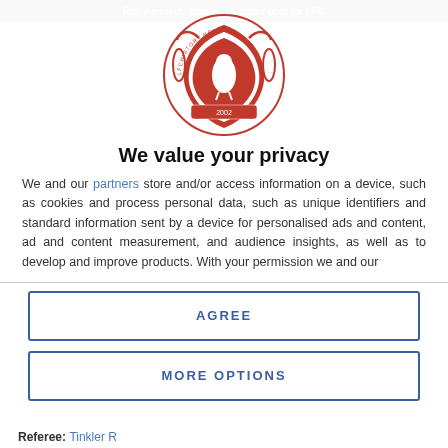Ray Kennedy scores his debut goal for LFC
[Figure (logo): LFCHistory.net red crest logo with bird and 2002 date]
We value your privacy
We and our partners store and/or access information on a device, such as cookies and process personal data, such as unique identifiers and standard information sent by a device for personalised ads and content, ad and content measurement, and audience insights, as well as to develop and improve products. With your permission we and our
AGREE
MORE OPTIONS
Referee: Tinkler R